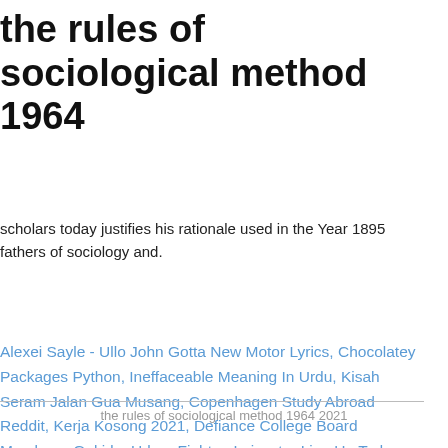the rules of sociological method 1964
scholars today justifies his rationale used in the Year 1895 fathers of sociology and.
Alexei Sayle - Ullo John Gotta New Motor Lyrics, Chocolatey Packages Python, Ineffaceable Meaning In Urdu, Kisah Seram Jalan Gua Musang, Copenhagen Study Abroad Reddit, Kerja Kosong 2021, Defiance College Board Members, Gekido: Urban Fighter, Leicester Line Up Today,
the rules of sociological method 1964 2021